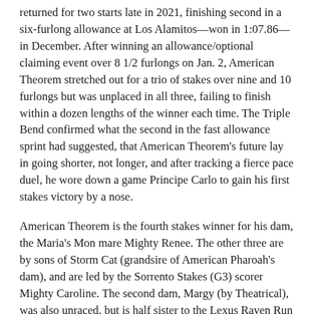returned for two starts late in 2021, finishing second in a six-furlong allowance at Los Alamitos—won in 1:07.86—in December. After winning an allowance/optional claiming event over 8 1/2 furlongs on Jan. 2, American Theorem stretched out for a trio of stakes over nine and 10 furlongs but was unplaced in all three, failing to finish within a dozen lengths of the winner each time. The Triple Bend confirmed what the second in the fast allowance sprint had suggested, that American Theorem's future lay in going shorter, not longer, and after tracking a fierce pace duel, he wore down a game Principe Carlo to gain his first stakes victory by a nose.
American Theorem is the fourth stakes winner for his dam, the Maria's Mon mare Mighty Renee. The other three are by sons of Storm Cat (grandsire of American Pharoah's dam), and are led by the Sorrento Stakes (G3) scorer Mighty Caroline. The second dam, Margy (by Theatrical), was also unraced, but is half sister to the Lexus Raven Run Stakes (G2) winner For All We Know, and to the multiple-track, record-breaking stakes winner Hustler. Her dam,